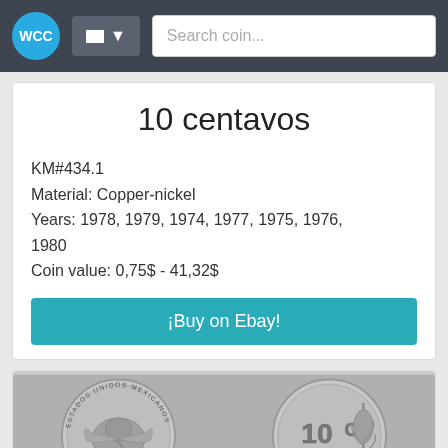WCC | Search coin...
10 centavos
KM#434.1
Material: Copper-nickel
Years: 1978, 1979, 1974, 1977, 1975, 1976, 1980
Coin value: 0,75$ - 41,32$
¡Buy on Ebay!
[Figure (photo): Two sides of a Mexican 10 centavos coin. Left: obverse showing Mexican coat of arms with text ESTADOS UNIDOS MEXICANOS. Right: reverse showing '10 Cs' with corn stalk design and date 1970s.]